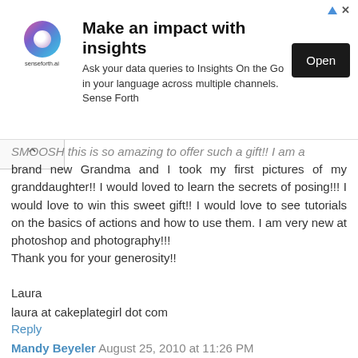[Figure (other): Advertisement banner for senseforth.ai - Make an impact with insights. Ask your data queries to Insights On the Go in your language across multiple channels. Sense Forth. Open button.]
SMOOSH this is so amazing to offer such a gift! I am a brand new Grandma and I took my first pictures of my granddaughter!! I would loved to learn the secrets of posing!!! I would love to win this sweet gift!! I would love to see tutorials on the basics of actions and how to use them. I am very new at photoshop and photography!!!
Thank you for your generosity!!
Laura
laura at cakeplategirl dot com
Reply
Mandy Beyeler August 25, 2010 at 11:26 PM
Perfect - I'm trying out a newborn shoot next week! it'd be great to get hints on bridal photos....